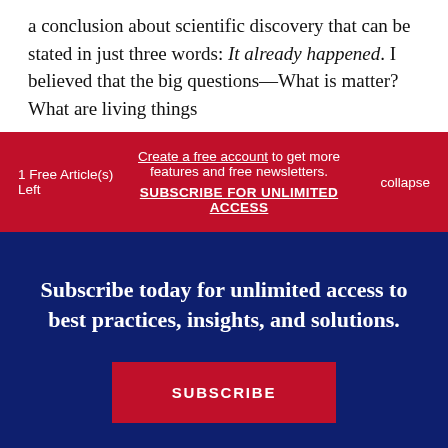a conclusion about scientific discovery that can be stated in just three words: It already happened. I believed that the big questions—What is matter? What are living things
1 Free Article(s) Left
Create a free account to get more features and free newsletters.
SUBSCRIBE FOR UNLIMITED ACCESS
collapse
Subscribe today for unlimited access to best practices, insights, and solutions.
SUBSCRIBE